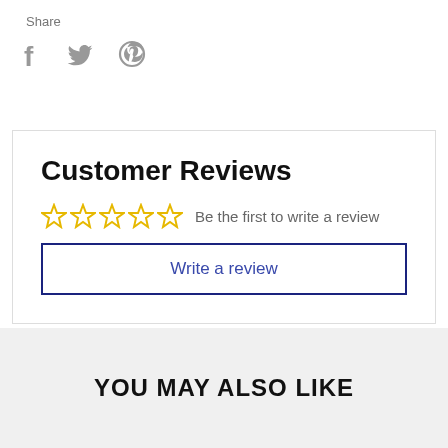Share
[Figure (illustration): Social media share icons: Facebook (f), Twitter (bird), Pinterest (p) in grey]
Customer Reviews
[Figure (other): Five empty star rating icons in yellow/gold outline]
Be the first to write a review
Write a review
YOU MAY ALSO LIKE